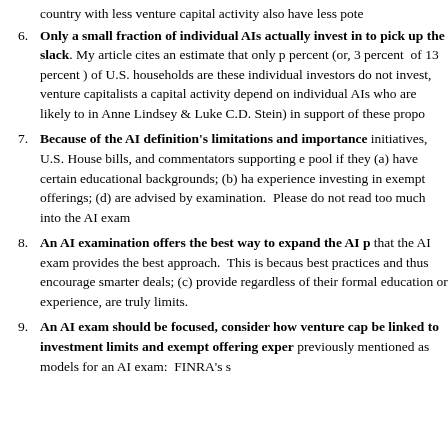country with less venture capital activity also have less pote
Only a small fraction of individual AIs actually invest in to pick up the slack. My article cites an estimate that only p percent (or, 3 percent of 13 percent ) of U.S. households are these individual investors do not invest, venture capitalists a capital activity depend on individual AIs who are likely to in Anne Lindsey & Luke C.D. Stein) in support of these propo
Because of the AI definition's limitations and importance initiatives, U.S. House bills, and commentators supporting e pool if they (a) have certain educational backgrounds; (b) ha experience investing in exempt offerings; (d) are advised by examination. Please do not read too much into the AI exam
An AI examination offers the best way to expand the AI p that the AI exam provides the best approach. This is becaus best practices and thus encourage smarter deals; (c) provide regardless of their formal education or experience, are truly limits.
An AI exam should be focused, consider how venture cap be linked to investment limits and exempt offering exper previously mentioned as models for an AI exam: FINRA's s